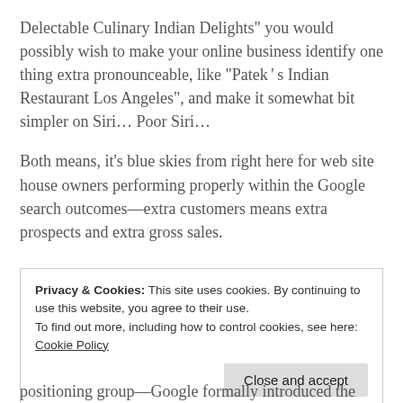Delectable Culinary Indian Delights” you would possibly wish to make your online business identify one thing extra pronounceable, like “Patek’s Indian Restaurant Los Angeles”, and make it somewhat bit simpler on Siri… Poor Siri…
Both means, it’s blue skies from right here for web site house owners performing properly within the Google search outcomes—extra customers means extra prospects and extra gross sales.
Privacy & Cookies: This site uses cookies. By continuing to use this website, you agree to their use.
To find out more, including how to control cookies, see here: Cookie Policy
positioning group—Google formally introduced the